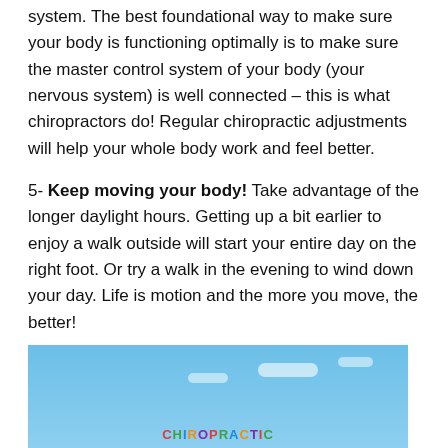system.  The best foundational way to make sure your body is functioning optimally is to make sure the master control system of your body (your nervous system) is well connected – this is what chiropractors do!  Regular chiropractic adjustments will help your whole body work and feel better.
5- Keep moving your body!   Take advantage of the longer daylight hours.  Getting up a bit earlier to enjoy a walk outside will start your entire day on the right foot.  Or try a walk in the evening to wind down your day. Life is motion and the more you move, the better!
One thing is for certain with summer – it goes by fast!  Enjoy your summer and enjoy great health!
[Figure (photo): A blue sky with white clouds background image with colorful vegetable/fruit letters spelling out CHIROPRACTIC at the bottom]